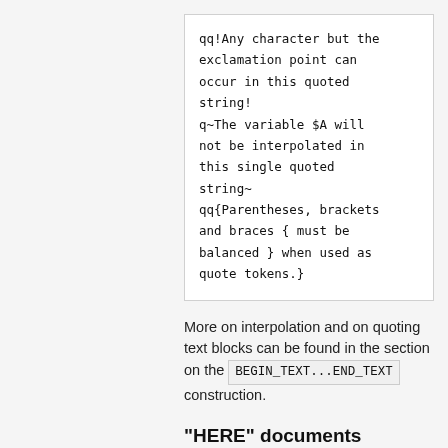qq!Any character but the exclamation point can occur in this quoted string!
q~The variable $A will not be interpolated in this single quoted string~
qq{Parentheses, brackets and braces { must be balanced } when used as quote tokens.}
More on interpolation and on quoting text blocks can be found in the section on the BEGIN_TEXT...END_TEXT construction.
"HERE" documents
For continuation blocks of text, id...